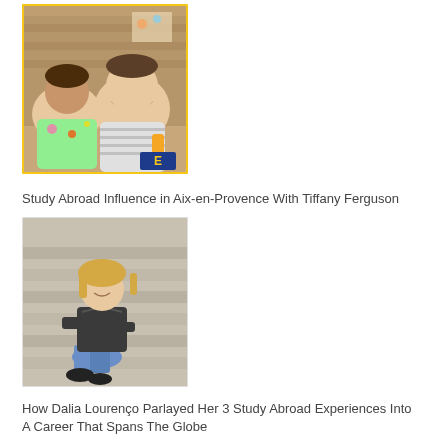[Figure (photo): Two people posing together indoors, one holding a drink, with a blue and yellow shield logo with letter E in the lower right corner of the photo.]
Study Abroad Influence in Aix-en-Provence With Tiffany Ferguson
[Figure (photo): Young woman with blonde hair sitting on stone steps outdoors, wearing a dark t-shirt and jeans with black shoes.]
How Dalia Lourenço Parlayed Her 3 Study Abroad Experiences Into A Career That Spans The Globe